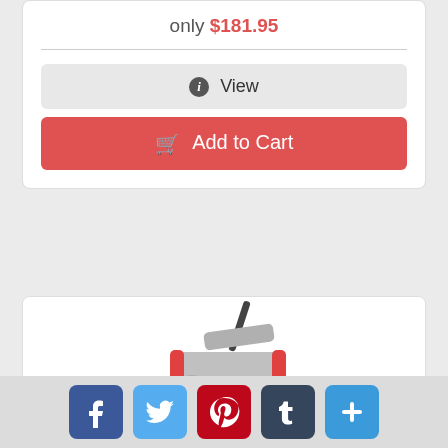only $181.95
View
Add to Cart
[Figure (photo): Torin T84032 Aluminum Double Pump floor jack, red and silver, low profile]
Torin T84032 Aluminum Double Pump Jack -...
only $363.97
View
[Figure (infographic): Social media share buttons: Facebook, Twitter, Pinterest, Tumblr, and a plus/more button]